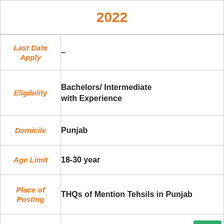2022
| Field | Value |
| --- | --- |
| Last Date Apply | – |
| Eligibility | Bachelors/ Intermediate with Experience |
| Domicile | Punjab |
| Age Limit | 18-30 year |
| Place of Posting | THQs of Mention Tehsils in Punjab |
| Application Forms | Click Here |